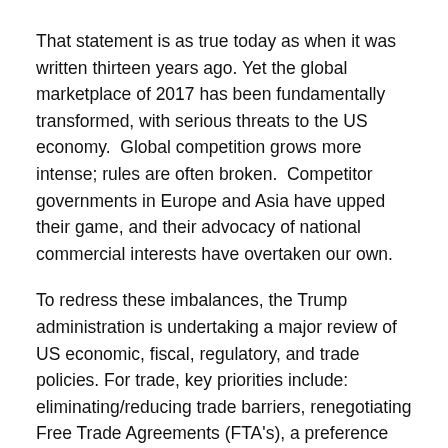That statement is as true today as when it was written thirteen years ago. Yet the global marketplace of 2017 has been fundamentally transformed, with serious threats to the US economy. Global competition grows more intense; rules are often broken. Competitor governments in Europe and Asia have upped their game, and their advocacy of national commercial interests have overtaken our own.
To redress these imbalances, the Trump administration is undertaking a major review of US economic, fiscal, regulatory, and trade policies. For trade, key priorities include: eliminating/reducing trade barriers, renegotiating Free Trade Agreements (FTA's), a preference for bilateral over multilateral agreements, and tightened enforcement and compliance of existing agreements. These steps are key to America's macro-economic competitiveness but they alone are not enough. We also need a comprehensive, aggressive national commercial diplomacy effort. Our major competitors have already taken this step; we need to out play